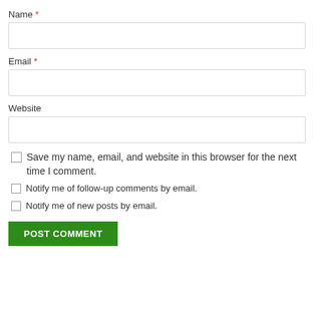Name *
[Figure (other): Empty text input field for Name]
Email *
[Figure (other): Empty text input field for Email]
Website
[Figure (other): Empty text input field for Website]
Save my name, email, and website in this browser for the next time I comment.
Notify me of follow-up comments by email.
Notify me of new posts by email.
POST COMMENT